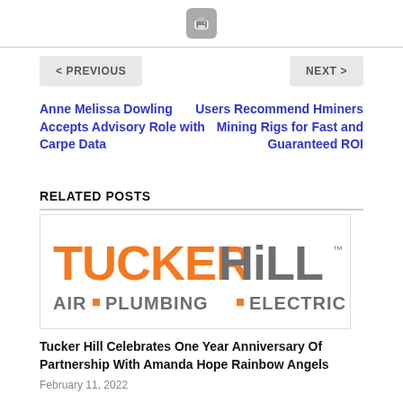[Figure (other): Print icon button (gray rounded square with printer symbol)]
< PREVIOUS
NEXT >
Anne Melissa Dowling Accepts Advisory Role with Carpe Data
Users Recommend Hminers Mining Rigs for Fast and Guaranteed ROI
RELATED POSTS
[Figure (logo): Tucker Hill Air • Plumbing • Electric logo — orange TUCKER, gray HILL with dot accent, tagline AIR • PLUMBING • ELECTRIC in gray]
Tucker Hill Celebrates One Year Anniversary Of Partnership With Amanda Hope Rainbow Angels
February 11, 2022